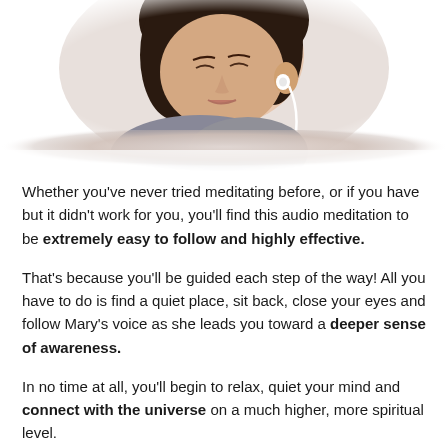[Figure (photo): A young woman with dark hair, eyes closed, wearing white earbuds/earphones, appearing relaxed and peaceful. The image has a soft vignette/fade effect around the edges.]
Whether you've never tried meditating before, or if you have but it didn't work for you, you'll find this audio meditation to be extremely easy to follow and highly effective.
That's because you'll be guided each step of the way! All you have to do is find a quiet place, sit back, close your eyes and follow Mary's voice as she leads you toward a deeper sense of awareness.
In no time at all, you'll begin to relax, quiet your mind and connect with the universe on a much higher, more spiritual level.